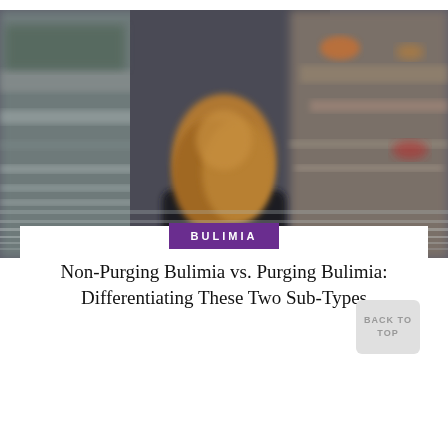MORE
MORE
ARTICLES
[Figure (photo): Woman with long blonde/brown hair seen from behind, standing in a blurred urban environment with lights and motion blur, dark jacket.]
BULIMIA
Non-Purging Bulimia vs. Purging Bulimia: Differentiating These Two Sub-Types